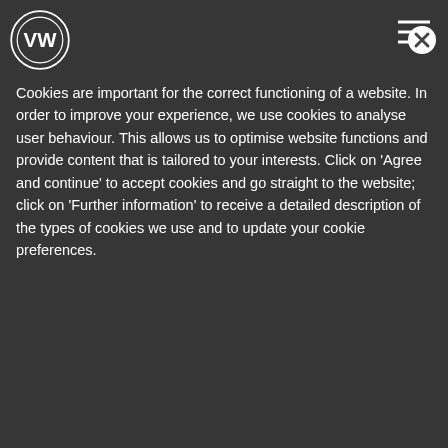[Figure (logo): Volkswagen VW circular logo, top left]
[Figure (other): Close button X icon in circle, top right]
Cookies are important for the correct functioning of a website. In order to improve your experience, we use cookies to analyse user behaviour. This allows us to optimise website functions and provide content that is tailored to your interests. Click on 'Agree and continue' to accept cookies and go straight to the website; click on 'Further information' to receive a detailed description of the types of cookies we use and to update your cookie preferences.
*Supplied as standard with your vehicle or available to purchase
We Connect Go app
Your personal car assistant
[Figure (screenshot): We Connect Go app icon - blue circle with WiFi/signal icon and Go text]
We Connect Go
Volkswagen
Free on the App Store
Install
easy to use. There are many different challenges available to fit your personal needs.